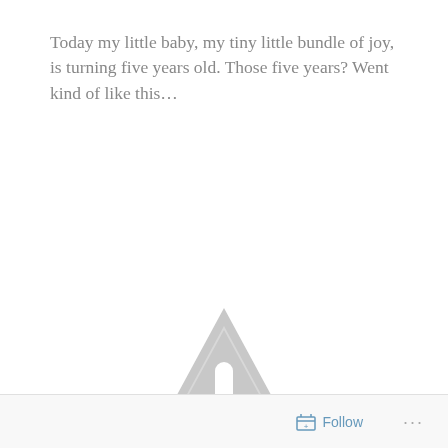Today my little baby, my tiny little bundle of joy, is turning five years old. Those five years? Went kind of like this...
[Figure (illustration): A large light grey warning triangle with a white exclamation mark inside, indicating missing or unavailable image content.]
Follow ···